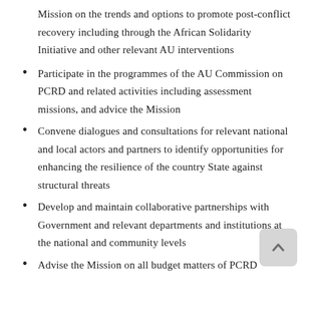Mission on the trends and options to promote post-conflict recovery including through the African Solidarity Initiative and other relevant AU interventions
Participate in the programmes of the AU Commission on PCRD and related activities including assessment missions, and advice the Mission
Convene dialogues and consultations for relevant national and local actors and partners to identify opportunities for enhancing the resilience of the country State against structural threats
Develop and maintain collaborative partnerships with Government and relevant departments and institutions at the national and community levels
Advise the Mission on all budget matters of PCRD